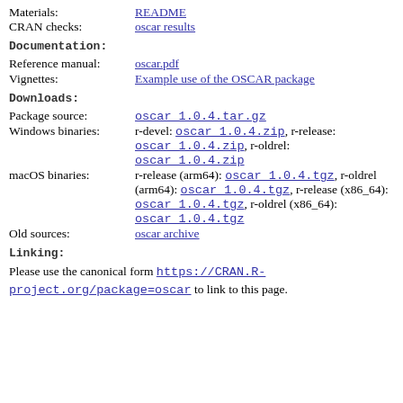Materials: README
CRAN checks: oscar results
Documentation:
Reference manual: oscar.pdf
Vignettes: Example use of the OSCAR package
Downloads:
Package source: oscar_1.0.4.tar.gz
Windows binaries: r-devel: oscar_1.0.4.zip, r-release: oscar_1.0.4.zip, r-oldrel: oscar_1.0.4.zip
macOS binaries: r-release (arm64): oscar_1.0.4.tgz, r-oldrel (arm64): oscar_1.0.4.tgz, r-release (x86_64): oscar_1.0.4.tgz, r-oldrel (x86_64): oscar_1.0.4.tgz
Old sources: oscar archive
Linking:
Please use the canonical form https://CRAN.R-project.org/package=oscar to link to this page.